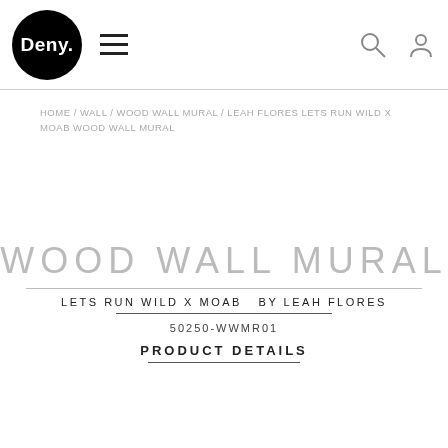[Figure (logo): Deny Designs logo: black circle with white 'Deny.' text inside, with hamburger menu icon and search/user icons]
HOME / WALL / WOOD WALL MURAL / LEAH FLORES LETS RUN WILD X MOAB WOOD WALL MURAL
WOOD WALL MURAL
LETS RUN WILD X MOAB  BY LEAH FLORES
50250-WWMR01
PRODUCT DETAILS